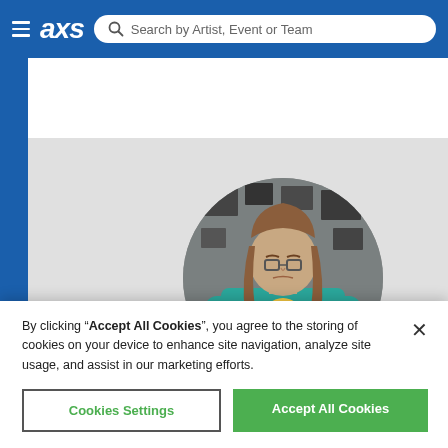AXS — Search by Artist, Event or Team
[Figure (photo): Person with long hair wearing a teal sweatshirt with a graphic, arms crossed, standing in front of a wall with framed items. Displayed in a circular crop on a gray background.]
By clicking “Accept All Cookies”, you agree to the storing of cookies on your device to enhance site navigation, analyze site usage, and assist in our marketing efforts.
Cookies Settings
Accept All Cookies